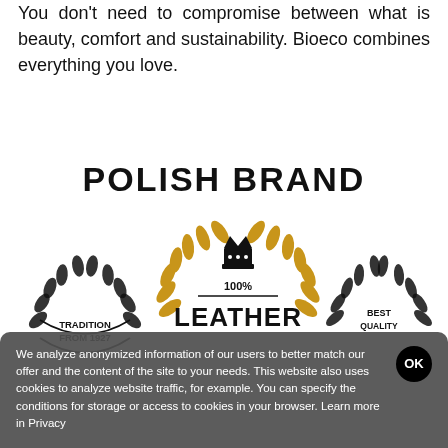You don't need to compromise between what is beauty, comfort and sustainability. Bioeco combines everything you love.
POLISH BRAND
[Figure (logo): Black laurel wreath badge with text TRADITION FROM 1927 inside]
[Figure (logo): Gold laurel wreath with crown on top, 100% text and LEATHER text below]
[Figure (logo): Black laurel wreath badge with text BEST QUALITY inside]
We analyze anonymized information of our users to better match our offer and the content of the site to your needs. This website also uses cookies to analyze website traffic, for example. You can specify the conditions for storage or access to cookies in your browser. Learn more in Privacy